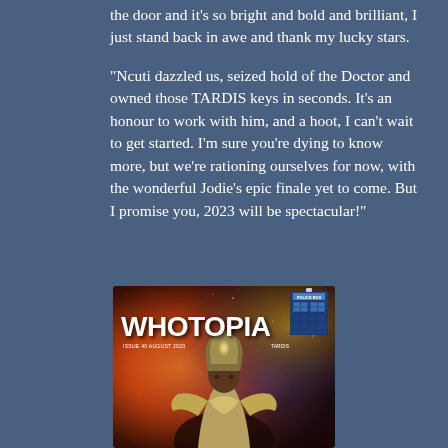the door and it's so bright and bold and brilliant, I just stand back in awe and thank my lucky stars.
"Ncuti dazzled us, seized hold of the Doctor and owned those TARDIS keys in seconds. It's an honour to work with him, and a hoot, I can't wait to get started. I'm sure you're dying to know more, but we're rationing ourselves for now, with the wonderful Jodie's epic finale yet to come. But I promise you, 2023 will be spectacular!"
[Figure (photo): Magazine cover of Whotopia, Issue 40, August 2023, showing a figure in ornate costume against a cosmic background with fire and nebula colors. The TARDIS logo appears in the top right corner.]